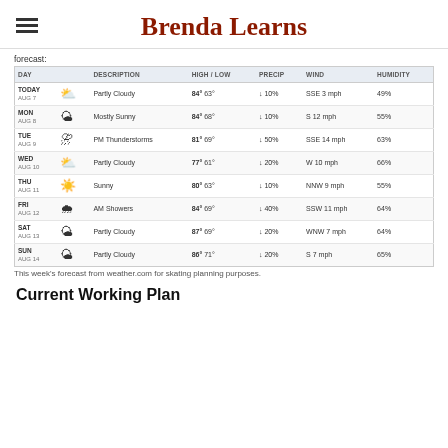Brenda Learns
forecast:
| DAY |  | DESCRIPTION | HIGH / LOW | PRECIP | WIND | HUMIDITY |
| --- | --- | --- | --- | --- | --- | --- |
| TODAY
AUG 7 |  | Partly Cloudy | 84° 63° | / 10% | SSE 3 mph | 49% |
| MON
AUG 8 |  | Mostly Sunny | 84° 68° | / 10% | S 12 mph | 55% |
| TUE
AUG 9 |  | PM Thunderstorms | 81° 69° | / 50% | SSE 14 mph | 63% |
| WED
AUG 10 |  | Partly Cloudy | 77° 61° | / 20% | W 10 mph | 66% |
| THU
AUG 11 |  | Sunny | 80° 63° | / 10% | NNW 9 mph | 55% |
| FRI
AUG 12 |  | AM Showers | 84° 69° | / 40% | SSW 11 mph | 64% |
| SAT
AUG 13 |  | Partly Cloudy | 87° 69° | / 20% | WNW 7 mph | 64% |
| SUN
AUG 14 |  | Partly Cloudy | 86° 71° | / 20% | S 7 mph | 65% |
This week's forecast from weather.com for skating planning purposes.
Current Working Plan